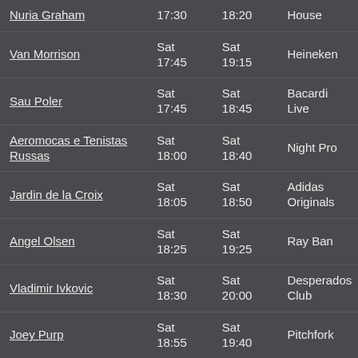| Artist | Start | End | Stage |
| --- | --- | --- | --- |
| Nuria Graham | 17:30 | 18:20 | House |
| Van Morrison | Sat 17:45 | Sat 19:15 | Heineken |
| Sau Poler | Sat 17:45 | Sat 18:45 | Bacardi Live |
| Aeromocas e Tenistas Russas | Sat 18:00 | Sat 18:40 | Night Pro |
| Jardin de la Croix | Sat 18:05 | Sat 18:50 | Adidas Originals |
| Angel Olsen | Sat 18:25 | Sat 19:25 | Ray Ban |
| Vladimir Ivkovic | Sat 18:30 | Sat 20:00 | Desperados Club |
| Joey Purp | Sat 18:55 | Sat 19:40 | Pitchfork |
| Alev Lenz... | Sat ... | Sat ... | Auditori... |